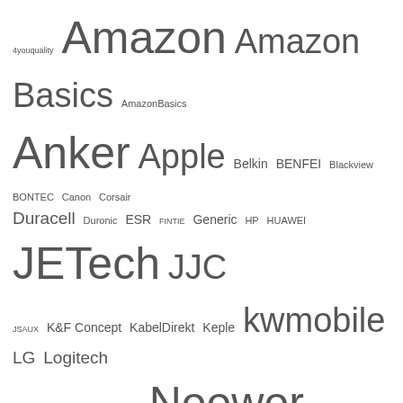[Figure (infographic): Tag cloud of brand names with varying font sizes indicating frequency/popularity. Brands include 4youquality, Amazon, Amazon Basics, AmazonBasics, Anker, Apple, Belkin, BENFEI, Blackview, BONTEC, Canon, Corsair, Duracell, Duronic, ESR, FINTIE, Generic, HP, HUAWEI, JETech, JJC, JSAUX, K&F Concept, KabelDirekt, Keple, kwmobile, LG, Logitech, MAJORITY, MoKo, Mpow, Neewer, Panasonic, rhinocables, Samsung, SanDisk, SMALLRIG, Sony, Spigen, StarTech.com, TECHGEAR, TOZO, TP-Link, UGREEN, UNBREAKcable]
Recent Posts
As an Amazon Associate I earn from qualifying purchases. This website uses the only necessary cookies to ensure you get the best experience on our website. More information